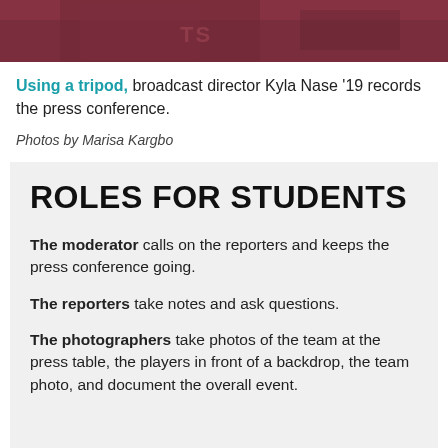[Figure (photo): Partial view of a person in a maroon/dark red jersey, cropped at the top of the page]
Using a tripod, broadcast director Kyla Nase '19 records the press conference.
Photos by Marisa Kargbo
ROLES FOR STUDENTS
The moderator calls on the reporters and keeps the press conference going.
The reporters take notes and ask questions.
The photographers take photos of the team at the press table, the players in front of a backdrop, the team photo, and document the overall event.